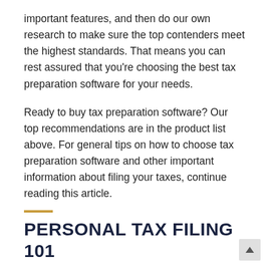important features, and then do our own research to make sure the top contenders meet the highest standards. That means you can rest assured that you're choosing the best tax preparation software for your needs.
Ready to buy tax preparation software? Our top recommendations are in the product list above. For general tips on how to choose tax preparation software and other important information about filing your taxes, continue reading this article.
PERSONAL TAX FILING 101
When do you have to file your taxes?
The deadline to file and pay taxes is April 15th afte